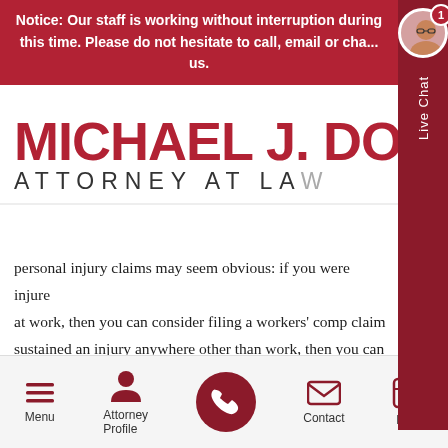Notice: Our staff is working without interruption during this time. Please do not hesitate to call, email or chat us.
MICHAEL J. DOY[LE] ATTORNEY AT LA[W]
personal injury claims may seem obvious: if you were injured at work, then you can consider filing a workers' comp claim sustained an injury anywhere other than work, then you can consider filing a personal injury claim.
FAULT: THE MAIN DIFFERENCE
[truncated bottom text]
Menu | Attorney Profile | [Call] | Contact | Blog